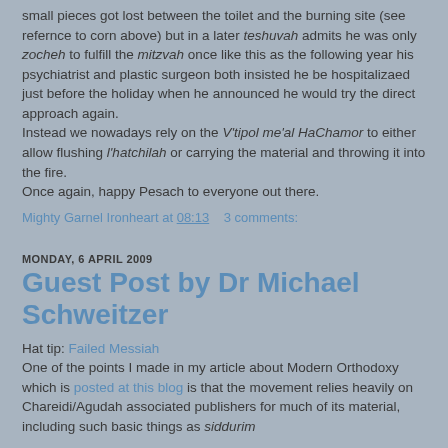small pieces got lost between the toilet and the burning site (see refernce to corn above) but in a later teshuvah admits he was only zocheh to fulfill the mitzvah once like this as the following year his psychiatrist and plastic surgeon both insisted he be hospitalizaed just before the holiday when he announced he would try the direct approach again. Instead we nowadays rely on the V'tipol me'al HaChamor to either allow flushing l'hatchilah or carrying the material and throwing it into the fire. Once again, happy Pesach to everyone out there.
Mighty Garnel Ironheart at 08:13   3 comments:
MONDAY, 6 APRIL 2009
Guest Post by Dr Michael Schweitzer
Hat tip: Failed Messiah
One of the points I made in my article about Modern Orthodoxy which is posted at this blog is that the movement relies heavily on Chareidi/Agudah associated publishers for much of its material, including such basic things as siddurim